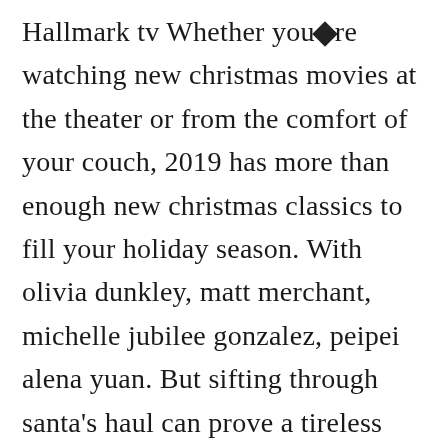Hallmark tv Whether you�re watching new christmas movies at the theater or from the comfort of your couch, 2019 has more than enough new christmas classics to fill your holiday season. With olivia dunkley, matt merchant, michelle jubilee gonzalez, peipei alena yuan. But sifting through santa’s haul can prove a tireless task. Let�s talk about what movies are hitting theaters in the 2019 holiday season. Get cozy and unpack a digital stocking’s worth of christmas movies and other seasonal fa�orites.